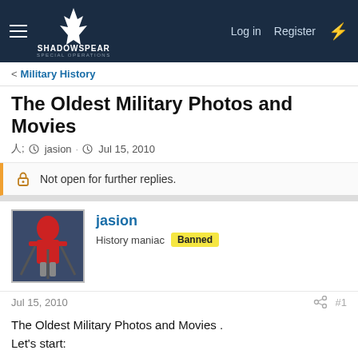ShadowSpear Special Operations — Log in | Register
< Military History
The Oldest Military Photos and Movies
jasion · Jul 15, 2010
Not open for further replies.
jasion
History maniac  Banned
Jul 15, 2010  #1
The Oldest Military Photos and Movies .
Let's start:
This site uses cookies to help personalise content, tailor your experience and to keep you logged in if you register.
By continuing to use this site, you are consenting to our use of cookies.
[Accept] [Learn more...]